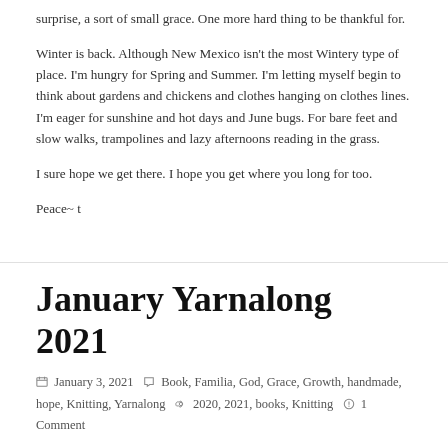surprise, a sort of small grace. One more hard thing to be thankful for.
Winter is back. Although New Mexico isn't the most Wintery type of place. I'm hungry for Spring and Summer. I'm letting myself begin to think about gardens and chickens and clothes hanging on clothes lines. I'm eager for sunshine and hot days and June bugs. For bare feet and slow walks, trampolines and lazy afternoons reading in the grass.
I sure hope we get there. I hope you get where you long for too.
Peace~ t
January Yarnalong 2021
January 3, 2021   Book, Familia, God, Grace, Growth, handmade, hope, Knitting, Yarnalong   2020, 2021, books, Knitting   1 Comment